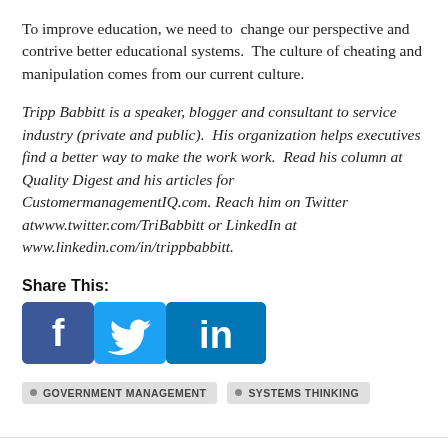To improve education, we need to change our perspective and contrive better educational systems. The culture of cheating and manipulation comes from our current culture.
Tripp Babbitt is a speaker, blogger and consultant to service industry (private and public). His organization helps executives find a better way to make the work work. Read his column at Quality Digest and his articles for CustomermanagementIQ.com. Reach him on Twitter atwww.twitter.com/TriBabbitt or LinkedIn at www.linkedin.com/in/trippbabbitt.
Share This:
[Figure (logo): Facebook, Twitter, and LinkedIn social share icons]
GOVERNMENT MANAGEMENT
SYSTEMS THINKING